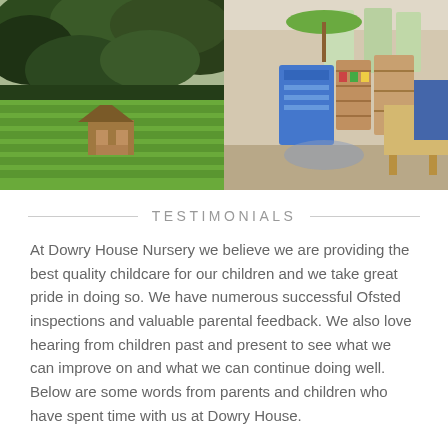[Figure (photo): Left photo: a garden with lush green lawn and a small wooden gazebo surrounded by large trees]
[Figure (photo): Right photo: interior of a nursery classroom with colorful educational materials, shelving units, and children's furniture]
TESTIMONIALS
At Dowry House Nursery we believe we are providing the best quality childcare for our children and we take great pride in doing so. We have numerous successful Ofsted inspections and valuable parental feedback. We also love hearing from children past and present to see what we can improve on and what we can continue doing well. Below are some words from parents and children who have spent time with us at Dowry House.